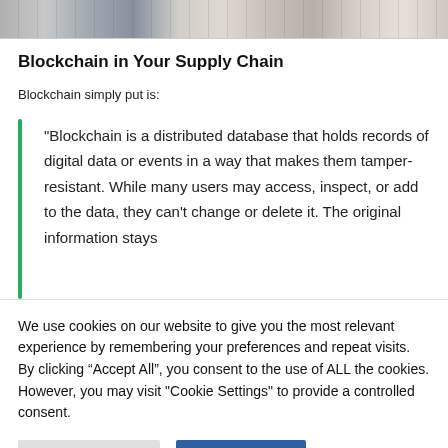[Figure (photo): Top cropped photo of warehouse/supply chain shelving with products and labels, partially visible]
Blockchain in Your Supply Chain
Blockchain simply put is:
"Blockchain is a distributed database that holds records of digital data or events in a way that makes them tamper-resistant. While many users may access, inspect, or add to the data, they can't change or delete it. The original information stays
We use cookies on our website to give you the most relevant experience by remembering your preferences and repeat visits. By clicking “Accept All”, you consent to the use of ALL the cookies. However, you may visit "Cookie Settings" to provide a controlled consent.
Cookie Settings   Accept All